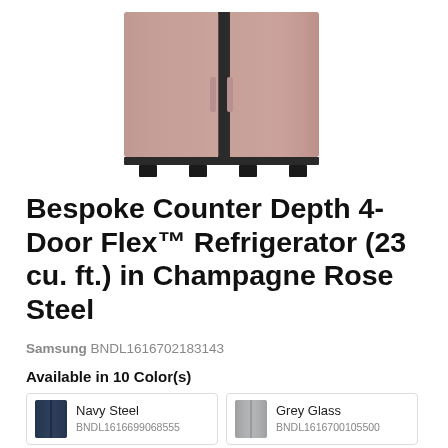[Figure (photo): Bottom portion of a Samsung Bespoke 4-Door Flex refrigerator in Champagne Rose Steel color, showing the lower doors and feet against a white background.]
Bespoke Counter Depth 4-Door Flex™ Refrigerator (23 cu. ft.) in Champagne Rose Steel
Samsung BNDL1616702183143
Available in 10 Color(s)
Navy Steel
BNDL1616699068555
Grey Glass
BNDL1616700105500